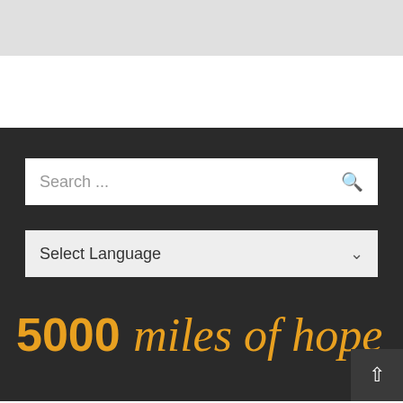[Figure (screenshot): Gray header bar at top of webpage]
[Figure (screenshot): White section below header]
Search ...
Select Language
5000 miles of hope